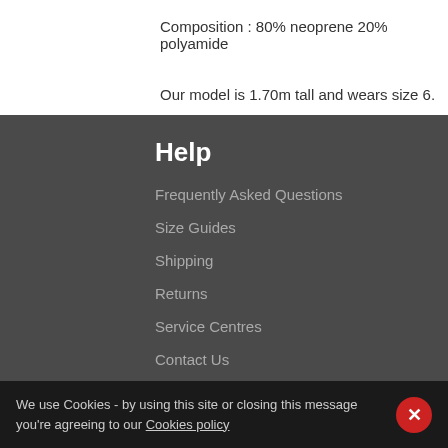Composition : 80% neoprene 20% polyamide
Our model is 1.70m tall and wears size 6.
Help
Frequently Asked Questions
Size Guides
Shipping
Returns
Service Centres
Contact Us
Distributors
CALL US : +33 (0)9 69 39 40 69
Warranty & Care
We use Cookies - by using this site or closing this message you're agreeing to our Cookies policy